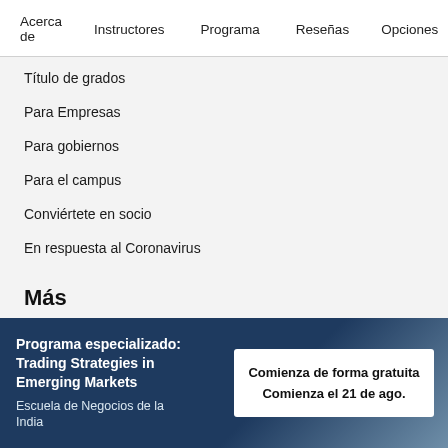Acerca de   Instructores   Programa   Reseñas   Opciones
Título de grados
Para Empresas
Para gobiernos
Para el campus
Conviértete en socio
En respuesta al Coronavirus
Más
Prensa
Programa especializado: Trading Strategies in Emerging Markets
Escuela de Negocios de la India
Comienza de forma gratuita
Comienza el 21 de ago.